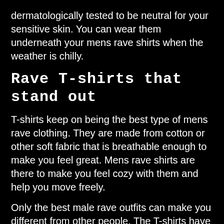dermatologically tested to be neutral for your sensitive skin. You can wear them underneath your mens rave shirts when the weather is chilly.
Rave T-shirts that stand out
T-shirts keep on being the best type of mens rave clothing. They are made from cotton or other soft fabric that is breathable enough to make you feel great. Mens rave shirts are there to make you feel cozy with them and help you move freely.
Only the best male rave outfits can make you different from other people. The T-shirts have a perfect imprint which can make you the center of the attraction when choosing. Not to mention...